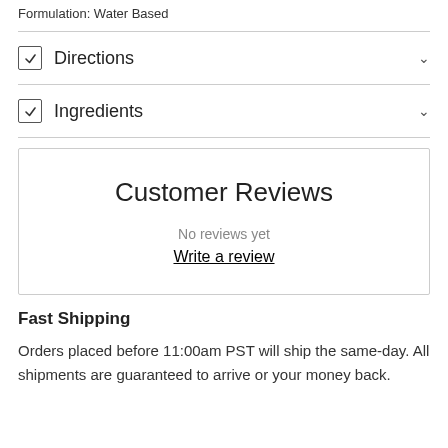Formulation: Water Based
Directions
Ingredients
Customer Reviews
No reviews yet
Write a review
Fast Shipping
Orders placed before 11:00am PST will ship the same-day. All shipments are guaranteed to arrive or your money back.